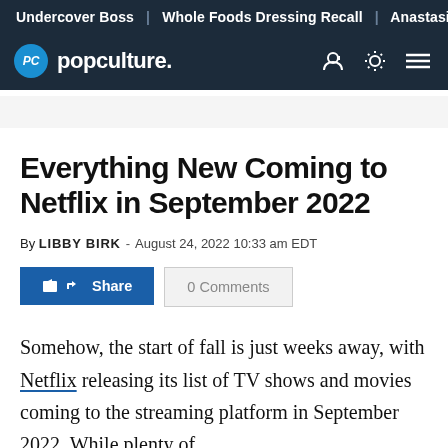Undercover Boss | Whole Foods Dressing Recall | Anastasia
popculture.
Everything New Coming to Netflix in September 2022
By LIBBY BIRK - August 24, 2022 10:33 am EDT
Somehow, the start of fall is just weeks away, with Netflix releasing its list of TV shows and movies coming to the streaming platform in September 2022. While plenty of